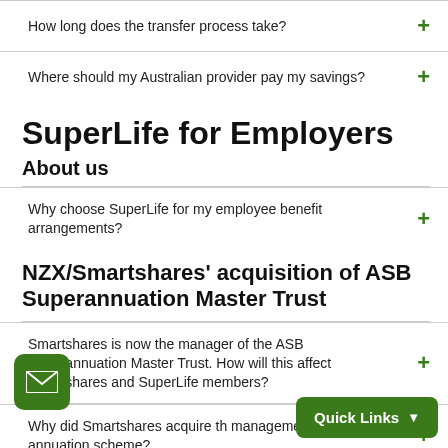How long does the transfer process take?
Where should my Australian provider pay my savings?
SuperLife for Employers
About us
Why choose SuperLife for my employee benefit arrangements?
NZX/Smartshares' acquisition of ASB Superannuation Master Trust
Smartshares is now the manager of the ASB Superannuation Master Trust. How will this affect Smartshares and SuperLife members?
Why did Smartshares acquire th management of another annuation scheme?
What will change for employers of existing